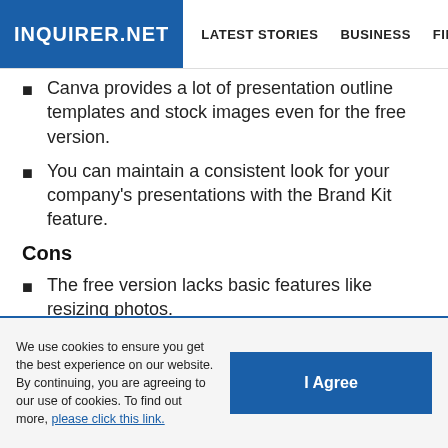INQUIRER.NET | LATEST STORIES | BUSINESS | FINANCE | TECHNOLO
Canva provides a lot of presentation outline templates and stock images even for the free version.
You can maintain a consistent look for your company's presentations with the Brand Kit feature.
Cons
The free version lacks basic features like resizing photos.
Only one person can work on a presentation, so others will have to wait for that person to finish.
You can't use this without connecting to the online account.
We use cookies to ensure you get the best experience on our website. By continuing, you are agreeing to our use of cookies. To find out more, please click this link.